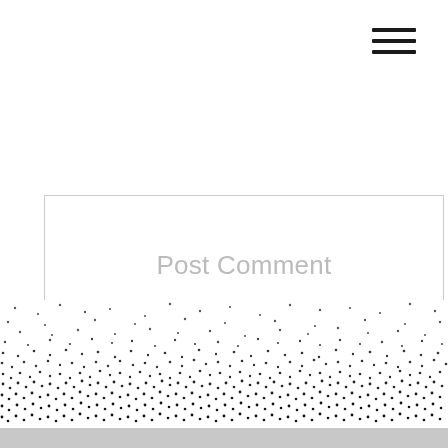[Figure (other): Hamburger menu icon — three horizontal black lines in top-right corner]
[Figure (screenshot): Post Comment button — large rectangle with light grey border containing light grey text 'Post Comment']
SPRINGTIME ENGAGEMENT PHOTOS AT LAURELHURST PARK »
« PURPLE & NAVY THEMED ENGAGEMENT PORTRAITS
[Figure (illustration): Scattered dot/speckle pattern decorative band across lower portion of page, transitioning from sparse dots to dense cluster, over white background with grey bar at very bottom]